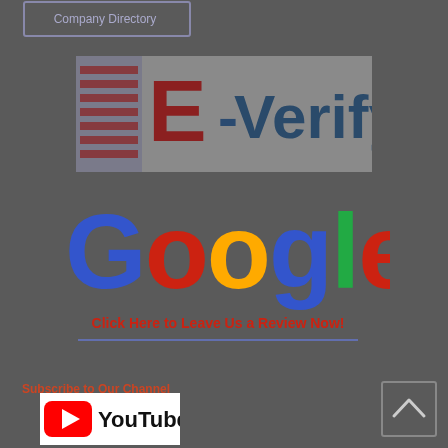[Figure (logo): Company Directory button - outlined rectangle with text 'Company Directory' on dark background]
[Figure (logo): E-Verify logo on grey background with American flag pattern and red E with dark blue Verify text]
[Figure (logo): Google logo in multicolor letters (blue G, red o, yellow o, blue g, green l, red e) on dark background with text 'Click Here to Leave Us a Review Now!' in red bold below with a horizontal underline]
Subscribe to Our Channel
[Figure (logo): YouTube logo - red rectangle with white play button triangle followed by 'YouTube' text in black on white background]
[Figure (other): Back to top button - square with caret/arrow pointing up on dark background, bottom right corner]